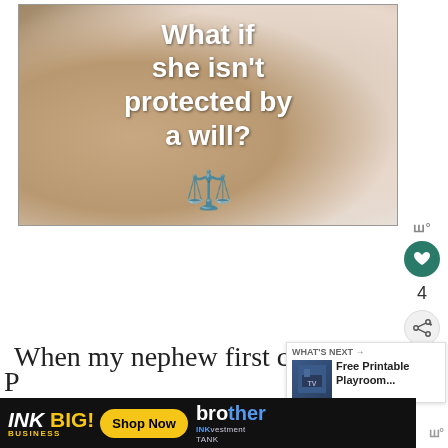[Figure (photo): Sleeping baby with adult hand on head, with overlay text 'What if she isn't protected by a will?' and a scales of justice emoji below the text on a blurred background.]
When my nephew first came to
was fascinated by our basement
P
[Figure (infographic): WHAT'S NEXT banner with thumbnail and text 'Free Printable Playroom...']
[Figure (infographic): Ad banner: INK BIG! BUSINESS Shop Now brother INKvestment TANK]